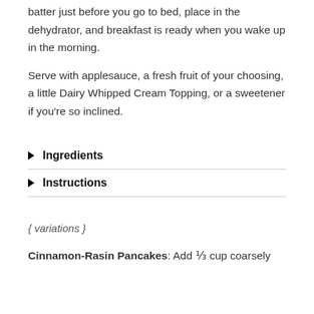batter just before you go to bed, place in the dehydrator, and breakfast is ready when you wake up in the morning.
Serve with applesauce, a fresh fruit of your choosing, a little Dairy Whipped Cream Topping, or a sweetener if you're so inclined.
Ingredients
Instructions
{ variations }
Cinnamon-Rasin Pancakes: Add ⅓ cup coarsely